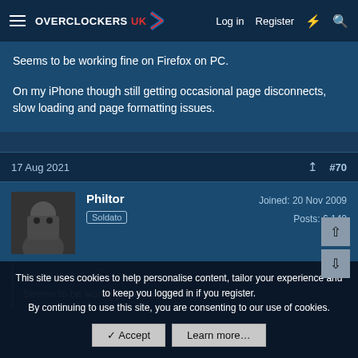Overclockers UK — Log in | Register
Seems to be working fine on Firefox on PC.

On my iPhone though still getting occasional page disconnects, slow loading and page formatting issues.
17 Aug 2021  #70
Philtor  Soldato  Joined: 20 Nov 2009  Posts: 6,140
Jokester said: ↑
Seems to be working fine on Firefox on PC.
This site uses cookies to help personalise content, tailor your experience and to keep you logged in if you register.
By continuing to use this site, you are consenting to our use of cookies.
✓ Accept  Learn more…